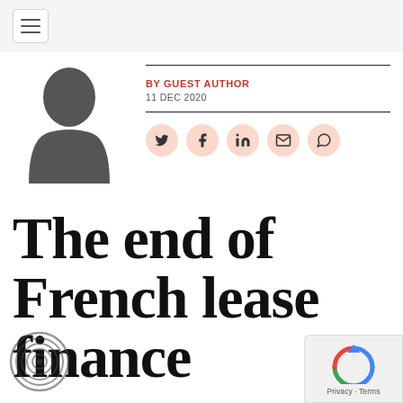Navigation menu (hamburger icon)
[Figure (illustration): Generic grey silhouette avatar of a person, head and shoulders]
BY GUEST AUTHOR
11 DEC 2020
[Figure (infographic): Social sharing icons: Twitter, Facebook, LinkedIn, Email, WhatsApp — circular peach-colored buttons]
The end of French lease finance